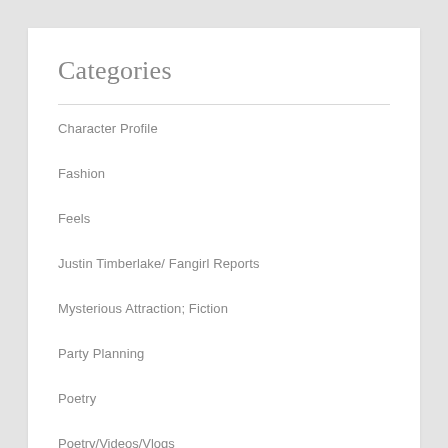Categories
Character Profile
Fashion
Feels
Justin Timberlake/ Fangirl Reports
Mysterious Attraction; Fiction
Party Planning
Poetry
Poetry/Videos/Vlogs